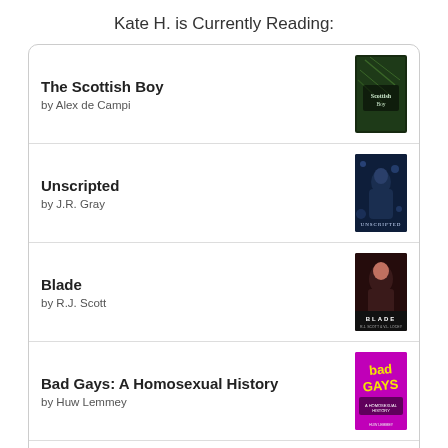Kate H. is Currently Reading:
The Scottish Boy by Alex de Campi
Unscripted by J.R. Gray
Blade by R.J. Scott
Bad Gays: A Homosexual History by Huw Lemmey
[Figure (logo): Goodreads logo button]